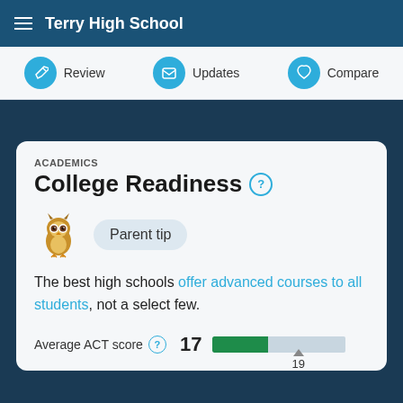Terry High School
Review  Updates  Compare
ACADEMICS
College Readiness
Parent tip
The best high schools offer advanced courses to all students, not a select few.
Average ACT score  17  (bar chart showing 17 vs benchmark 19)